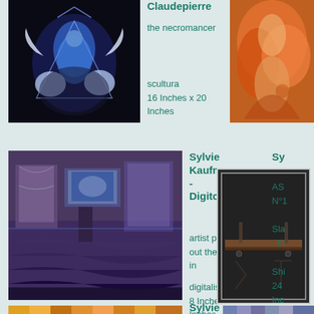[Figure (photo): Blue illuminated crystal/glass sculpture of a necromancer figure against black background]
Claudepierre
the necromancer
scultura
16 Inches x 20 Inches
[Figure (photo): Orange and red abstract painting]
[Figure (photo): Purple-toned digital art installation showing gallery with screens]
Sylvie Kaufmann - Digitoiles
artist place in out the bath in
digitalis
8 Inches x 6 Inches
[Figure (photo): Dark abstract painting with wooden element, slate-like texture]
Sy
AS
N°1
Sla
. Fi
Shi
24
Inc
Sylvie Ryckelynck-
[Figure (photo): Yellow/orange artwork, partially visible at bottom]
[Figure (photo): Striped artwork, partially visible at bottom right]